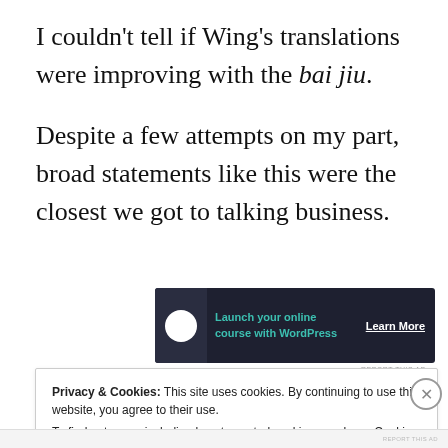I couldn't tell if Wing's translations were improving with the bai jiu.
Despite a few attempts on my part, broad statements like this were the closest we got to talking business.
[Figure (infographic): Advertisement banner: dark background with bonsai tree icon, teal text 'Launch your online course with WordPress', white underlined 'Learn More' button]
REPORT THIS AD
Privacy & Cookies: This site uses cookies. By continuing to use this website, you agree to their use.
To find out more, including how to control cookies, see here: Cookie Policy
Close and accept